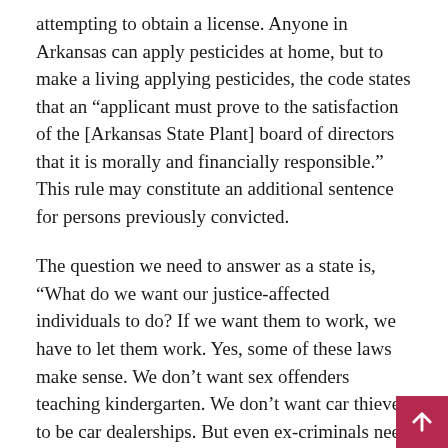attempting to obtain a license. Anyone in Arkansas can apply pesticides at home, but to make a living applying pesticides, the code states that an “applicant must prove to the satisfaction of the [Arkansas State Plant] board of directors that it is morally and financially responsible.” This rule may constitute an additional sentence for persons previously convicted.
The question we need to answer as a state is, “What do we want our justice-affected individuals to do? If we want them to work, we have to let them work. Yes, some of these laws make sense. We don’t want sex offenders teaching kindergarten. We don’t want car thieves to be car dealerships. But even ex-criminals need to be allowed to do something legal so they don’t resort to criminal activity.
In Arkansas, we don’t even allow ex-felons to work with the already dead. You must pass a background check to be an embalmer. If an ex-criminal has corrected his life and learned about nutrition and fitness, he cannot become a dietitian. The Arkansas Dietetics Licensing Board may deny her application